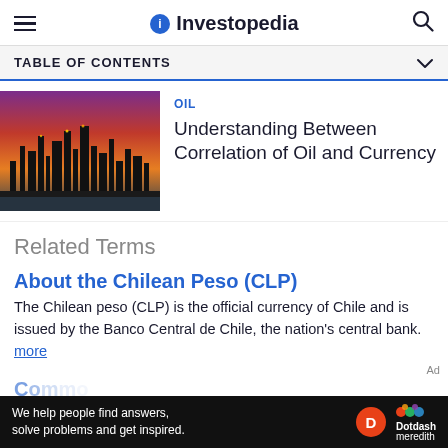Investopedia
TABLE OF CONTENTS
[Figure (photo): Oil refinery at sunset with industrial towers silhouetted against an orange and purple sky]
OIL
Understanding Between Correlation of Oil and Currency
Related Terms
About the Chilean Peso (CLP)
The Chilean peso (CLP) is the official currency of Chile and is issued by the Banco Central de Chile, the nation's central bank. more
[Figure (other): Dotdash Meredith advertisement banner: We help people find answers, solve problems and get inspired.]